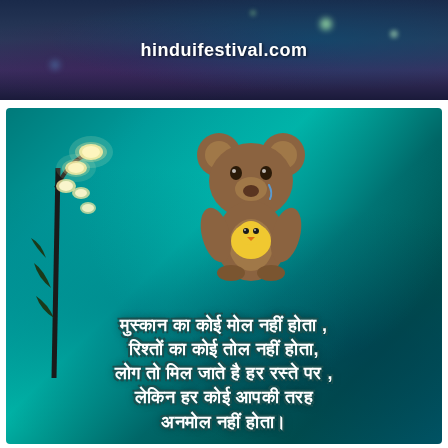[Figure (photo): Dark night sky background banner with bokeh light effects and website URL hinduifestival.com displayed in white text]
[Figure (illustration): Motivational Hindi quote image with teal/turquoise blurred background, a decorative lamp post with glowing white flower-shaped lights on the left, a cute cartoon bear hugging a small chick in the center, and four lines of Hindi text at the bottom reading: muskaan ka koi mol nahin hota, rishton ka koi tol nahin hota, log to mil jaate hai har raste par, lekin har koi aapki tarah anmol nahin hota.]